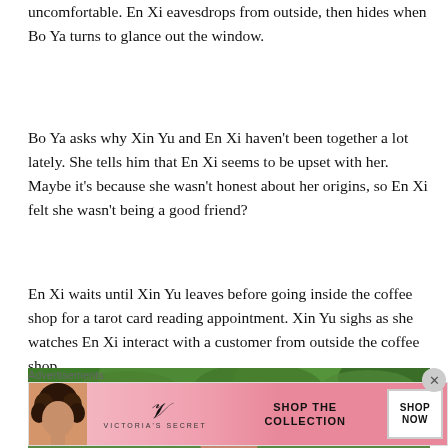uncomfortable. En Xi eavesdrops from outside, then hides when Bo Ya turns to glance out the window.
Bo Ya asks why Xin Yu and En Xi haven't been together a lot lately. She tells him that En Xi seems to be upset with her. Maybe it's because she wasn't honest about her origins, so En Xi felt she wasn't being a good friend?
En Xi waits until Xin Yu leaves before going inside the coffee shop for a tarot card reading appointment. Xin Yu sighs as she watches En Xi interact with a customer from outside the coffee shop.
[Figure (photo): Partial view of a person with reddish-brown hair against a green foliage background, shown from the top of the head.]
Advertisements SHOP THE COLLECTION SHOP NOW — Victoria's Secret advertisement banner